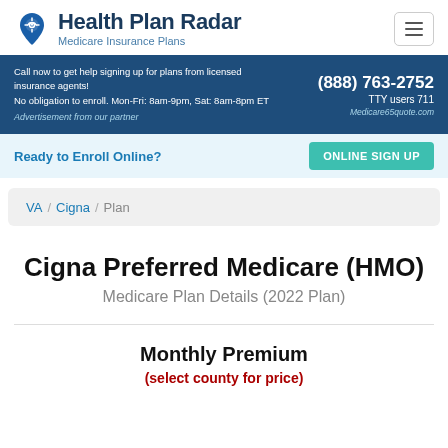Health Plan Radar — Medicare Insurance Plans
Call now to get help signing up for plans from licensed insurance agents! No obligation to enroll. Mon-Fri: 8am-9pm, Sat: 8am-8pm ET — (888) 763-2752 TTY users 711 — Advertisement from our partner — Medicare65quote.com
Ready to Enroll Online? ONLINE SIGN UP
VA / Cigna / Plan
Cigna Preferred Medicare (HMO)
Medicare Plan Details (2022 Plan)
Monthly Premium
(select county for price)